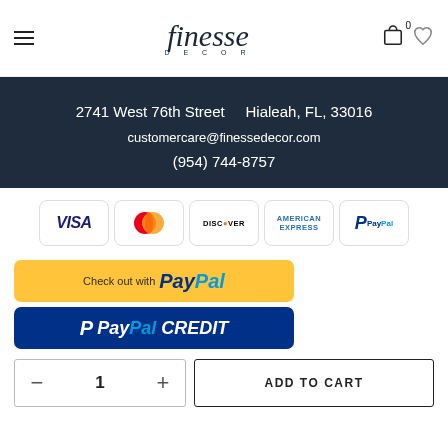[Figure (logo): Finesse Decor logo with stylized italic text and DECOR subtitle]
2741 West 76th Street   Hialeah, FL, 33016
customercare@finessedecor.com
(954) 744-8757
[Figure (other): Payment method logos: Visa, MasterCard, Discover, American Express, PayPal]
[Figure (other): Check out with PayPal button (yellow)]
[Figure (other): PayPal Credit button (dark blue)]
1
ADD TO CART